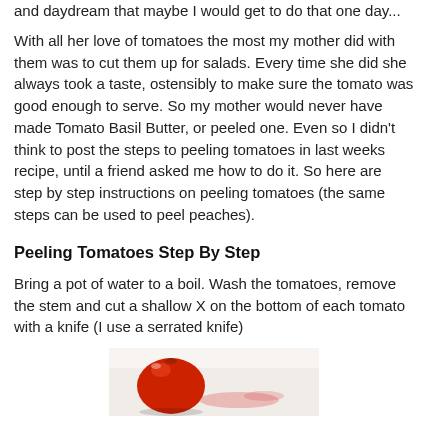and daydream that maybe I would get to do that one day...
With all her love of tomatoes the most my mother did with them was to cut them up for salads. Every time she did she always took a taste, ostensibly to make sure the tomato was good enough to serve. So my mother would never have made Tomato Basil Butter, or peeled one. Even so I didn't think to post the steps to peeling tomatoes in last weeks recipe, until a friend asked me how to do it. So here are step by step instructions on peeling tomatoes (the same steps can be used to peel peaches).
Peeling Tomatoes Step By Step
Bring a pot of water to a boil. Wash the tomatoes, remove the stem and cut a shallow X on the bottom of each tomato with a knife (I use a serrated knife)
[Figure (photo): A red tomato on a white cutting board with tomato juice/pulp visible, being prepared for peeling.]